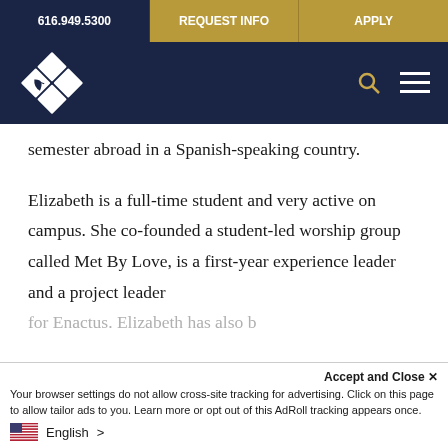616.949.5300 | REQUEST INFO | APPLY
[Figure (logo): College logo with four-quadrant diamond/leaf emblem in white on dark navy background, with search and hamburger menu icons]
semester abroad in a Spanish-speaking country.
Elizabeth is a full-time student and very active on campus. She co-founded a student-led worship group called Met By Love, is a first-year experience leader and a project leader for Enactus. Elizabeth has also b...
Accept and Close ✕
Your browser settings do not allow cross-site tracking for advertising. Click on this page to allow tailor ads to you. Learn more or opt out of this AdRoll tracking appears once.
English >